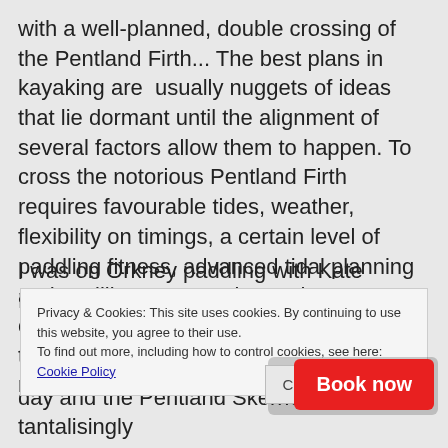with a well-planned, double crossing of the Pentland Firth... The best plans in kayaking are usually nuggets of ideas that lie dormant until the alignment of several factors allow them to happen. To cross the notorious Pentland Firth requires favourable tides, weather, flexibility on timings, a certain level of paddling fitness, advanced tidal planning and a willingness to take on the challenge. To do it twice in a day needs all this plus motivation, imagination and maybe a few missing shillings.
I was on Orkney paddling with Kate Duffus for a few
Privacy & Cookies: This site uses cookies. By continuing to use this website, you agree to their use.
To find out more, including how to control cookies, see here: Cookie Policy
day and the Pentland Skerries looked tantalisingly